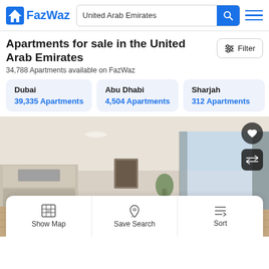FazWaz — United Arab Emirates search bar
Apartments for sale in the United Arab Emirates
34,788 Apartments available on FazWaz
Dubai — 39,335 Apartments
Abu Dhabi — 4,504 Apartments
Sharjah — 312 Apartments
[Figure (photo): Interior photo of a modern luxury apartment living/dining area with large floor-to-ceiling windows, view of water, kitchen visible in background]
Show Map | Save Search | Sort